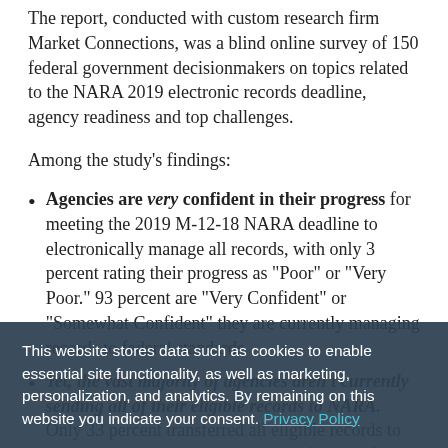The report, conducted with custom research firm Market Connections, was a blind online survey of 150 federal government decisionmakers on topics related to the NARA 2019 electronic records deadline, agency readiness and top challenges.
Among the study's findings:
Agencies are very confident in their progress for meeting the 2019 M-12-18 NARA deadline to electronically manage all records, with only 3 percent rating their progress as "Poor" or "Very Poor." 93 percent are "Very Confident" or "Somewhat Confident" they are currently managing records to federal standards.
Yet, the vast majority of agencies aren't currently sending all of their eligible records to NARA. Only 33 percent transferred all eligible records to NARA in FY2018. This aligns with findings from NARA's Federal Agency Records